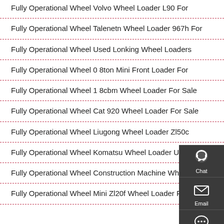Fully Operational Wheel Volvo Wheel Loader L90 For
Fully Operational Wheel Talenetn Wheel Loader 967h For
Fully Operational Wheel Used Lonking Wheel Loaders
Fully Operational Wheel 0 8ton Mini Front Loader For
Fully Operational Wheel 1 8cbm Wheel Loader For Sale
Fully Operational Wheel Cat 920 Wheel Loader For Sale
Fully Operational Wheel Liugong Wheel Loader Zl50c
Fully Operational Wheel Komatsu Wheel Loader Us
Fully Operational Wheel Construction Machine Wheel
Fully Operational Wheel Mini Zl20f Wheel Loader For
[Figure (infographic): Floating sidebar widget with three sections: Chat (headset icon), Email (envelope icon), Contact (speech bubble icon), dark gray background]